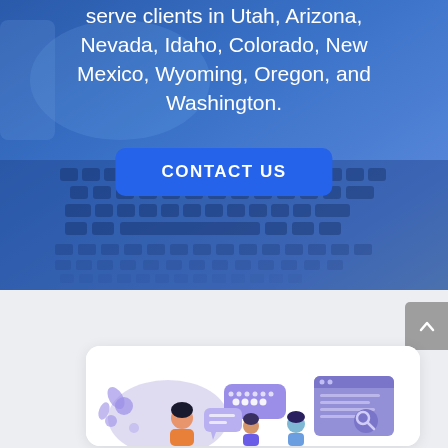[Figure (illustration): Blue-tinted background image of a laptop keyboard, partially visible, with a blue overlay gradient covering the top half of the page.]
serve clients in Utah, Arizona, Nevada, Idaho, Colorado, New Mexico, Wyoming, Oregon, and Washington.
[Figure (other): Blue rounded rectangular button with bold white uppercase text reading CONTACT US]
[Figure (other): Gray scroll-to-top button with upward arrow chevron on the right edge of the page]
[Figure (illustration): White rounded card containing a flat-style illustration of people communicating with chat bubbles, a browser/search window, and abstract decorative shapes in purple and blue tones.]